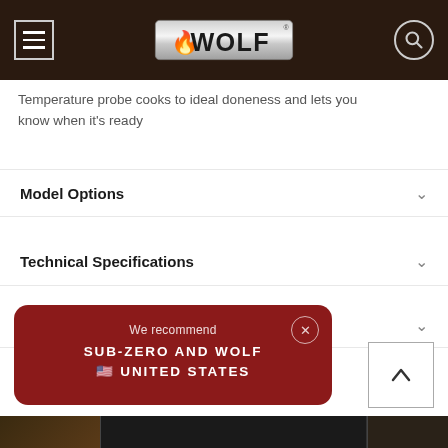Wolf (menu, logo, search)
Temperature probe cooks to ideal doneness and lets you know when it's ready
Model Options
Technical Specifications
Guides
[Figure (screenshot): Popup overlay with dark red background: 'We recommend SUB-ZERO AND WOLF 🇺🇸 UNITED STATES' with close button]
[Figure (infographic): Back-to-top arrow button in bottom right]
Bottom image strip